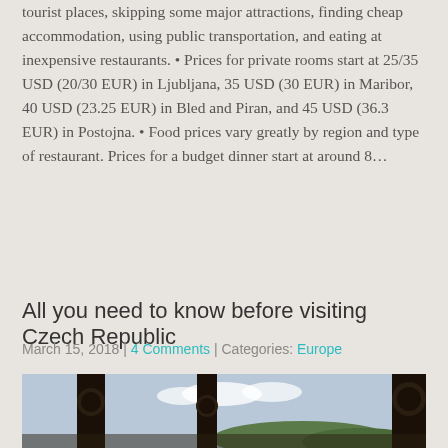tourist places, skipping some major attractions, finding cheap accommodation, using public transportation, and eating at inexpensive restaurants. • Prices for private rooms start at 25/35 USD (20/30 EUR) in Ljubljana, 35 USD (30 EUR) in Maribor, 40 USD (23.25 EUR) in Bled and Piran, and 45 USD (36.3 EUR) in Postojna. • Food prices vary greatly by region and type of restaurant. Prices for a budget dinner start at around 8...
Read More
All you need to know before visiting Czech Republic
March 15, 2018 | 4 Comments | Categories: Europe
[Figure (photo): A close-up photograph of ornate black iron lamp posts or fence posts with a blurred background showing a town or landscape with a hill in the distance.]